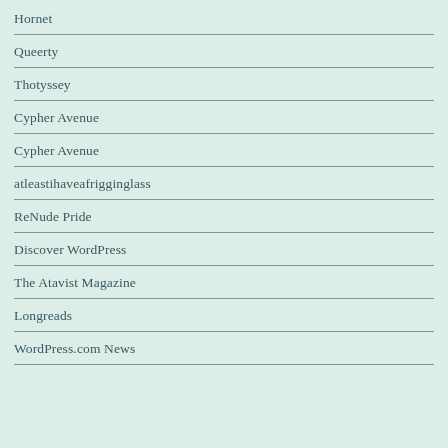Hornet
Queerty
Thotyssey
Cypher Avenue
Cypher Avenue
atleastihaveafrigginglass
ReNude Pride
Discover WordPress
The Atavist Magazine
Longreads
WordPress.com News